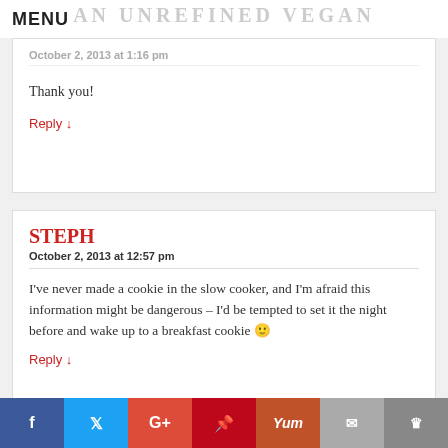MENU
Thank you!
Reply ↓
STEPH
October 2, 2013 at 12:57 pm
I've never made a cookie in the slow cooker, and I'm afraid this information might be dangerous – I'd be tempted to set it the night before and wake up to a breakfast cookie 🙂
Reply ↓